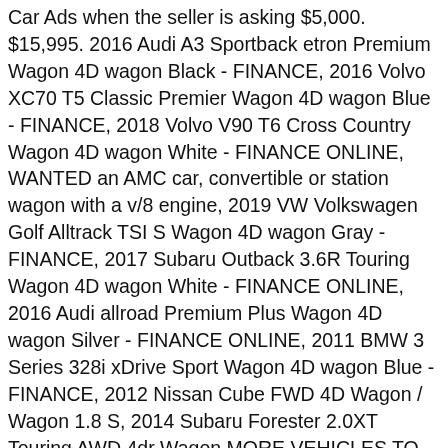Car Ads when the seller is asking $5,000. $15,995. 2016 Audi A3 Sportback etron Premium Wagon 4D wagon Black - FINANCE, 2016 Volvo XC70 T5 Classic Premier Wagon 4D wagon Blue - FINANCE, 2018 Volvo V90 T6 Cross Country Wagon 4D wagon White - FINANCE ONLINE, WANTED an AMC car, convertible or station wagon with a v/8 engine, 2019 VW Volkswagen Golf Alltrack TSI S Wagon 4D wagon Gray - FINANCE, 2017 Subaru Outback 3.6R Touring Wagon 4D wagon White - FINANCE ONLINE, 2016 Audi allroad Premium Plus Wagon 4D wagon Silver - FINANCE ONLINE, 2011 BMW 3 Series 328i xDrive Sport Wagon 4D wagon Blue - FINANCE, 2012 Nissan Cube FWD 4D Wagon / Wagon 1.8 S, 2014 Subaru Forester 2.0XT Touring AWD 4dr Wagon MORE VEHICLES TO CHOOSE FRO, 2013 Subaru Impreza 2.0i Sport Premium AWD 4dr Wagon 5M, 2017 MINI Clubman Cooper S AWD All Wheel Drive SKU:H2G02335, 2018 Buick Regal TourX Essence Wagon 4D wagon White - FINANCE ONLINE, 2010 Toyota Matrix Sport Wagon 4D wagon Gray - FINANCE ONLINE, 2011 Caddy Cadillac CTS Sport Wagon 4D wagon Gray - FINANCE ONLINE, favorite this post, Jan 29